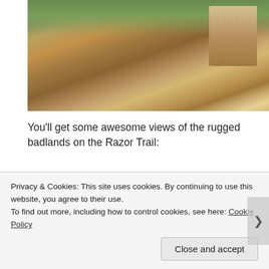[Figure (photo): Aerial view of rugged badlands terrain with sandy/rocky cliff formations and sparse green vegetation, partial view cropped at top]
You'll get some awesome views of the rugged badlands on the Razor Trail:
[Figure (photo): Coastal cliffs with layered reddish-brown eroded rock formations dropping down to an ocean beach, blue sky and water visible in background]
Privacy & Cookies: This site uses cookies. By continuing to use this website, you agree to their use.
To find out more, including how to control cookies, see here: Cookie Policy
Close and accept